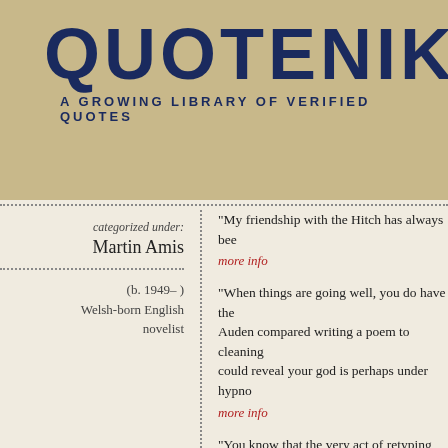QUOTENIK℠
A GROWING LIBRARY OF VERIFIED QUOTES
categorized under:
Martin Amis
(b. 1949– )
Welsh-born English novelist
"My friendship with the Hitch has always bee... more info
"When things are going well, you do have the... Auden compared writing a poem to cleaning... could reveal your god is perhaps under hypno... more info
"You know that the very act of retyping will i... don't retype, you are denying that page those... more info